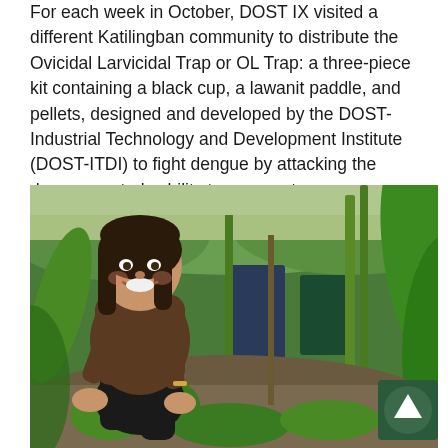For each week in October, DOST IX visited a different Katilingban community to distribute the Ovicidal Larvicidal Trap or OL Trap: a three-piece kit containing a black cup, a lawanit paddle, and pellets, designed and developed by the DOST-Industrial Technology and Development Institute (DOST-ITDI) to fight dengue by attacking the dengue vector's ability to propagate.
[Figure (photo): A woman in a brown polo shirt smiling and crouching down to plant or tend to a seedling in a field with corn plants and green vegetation. Other people are visible in the background. A scroll-up button icon is overlaid in the bottom-right corner.]